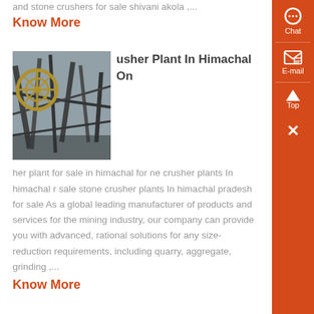and stone crushers for sale shivani akola ,...
Know More
[Figure (photo): Industrial/construction machinery with metal scaffolding and mechanical components, viewed from below against a sky background.]
usher Plant In Himachal On
her plant for sale in himachal for ne crusher plants In himachal r sale stone crusher plants In himachal pradesh for sale As a global leading manufacturer of products and services for the mining industry, our company can provide you with advanced, rational solutions for any size-reduction requirements, including quarry, aggregate, grinding ,...
Know More